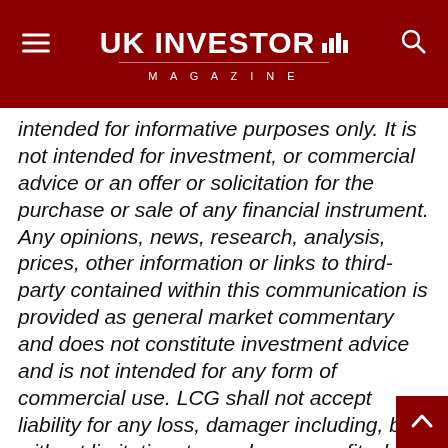UK INVESTOR MAGAZINE
intended for informative purposes only. It is not intended for investment, or commercial advice or an offer or solicitation for the purchase or sale of any financial instrument. Any opinions, news, research, analysis, prices, other information or links to third-party contained within this communication is provided as general market commentary and does not constitute investment advice and is not intended for any form of commercial use. LCG shall not accept liability for any loss, damager including, but without limitation, to any loss or profit which may arise directly or indirectly from use of or